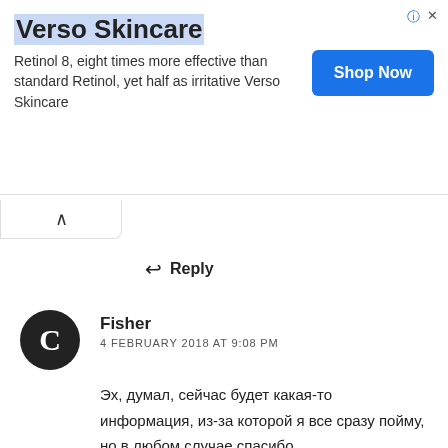[Figure (other): Advertisement banner for Verso Skincare with title, description text, and a blue 'Shop Now' button]
↑
↩ Reply
[Figure (other): User avatar: black circle with white letter C]
Fisher
4 FEBRUARY 2018 AT 9:08 PM
Эх, думал, сейчас будет какая-то информация, из-за которой я все сразу пойму, но в любом случае спасибо.
Я так понимаю, в идеале делать ликер из о-де-ви, например абрикосовый ликер = абрикосы + сахар + абрикосовый о-де-ви? На сколько я знаю, довольно немногие так делают.